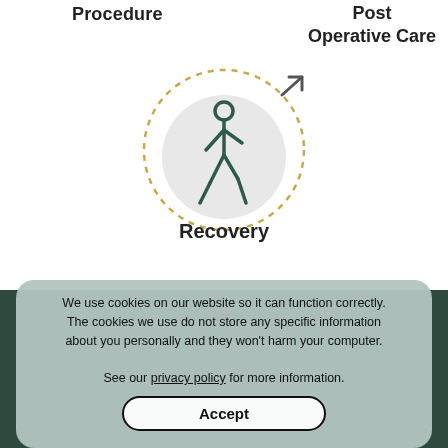Procedure
Post
Operative Care
[Figure (illustration): A circular diagram showing a walking person icon inside a light grey circle, surrounded by a dotted golden/yellow circle. An arrow curves upward and to the right from the circle, representing recovery or a lifecycle step.]
Recovery
We use cookies on our website so it can function correctly. The cookies we use do not store any specific information about you personally and they won't harm your computer.

See our privacy policy for more information.
Accept